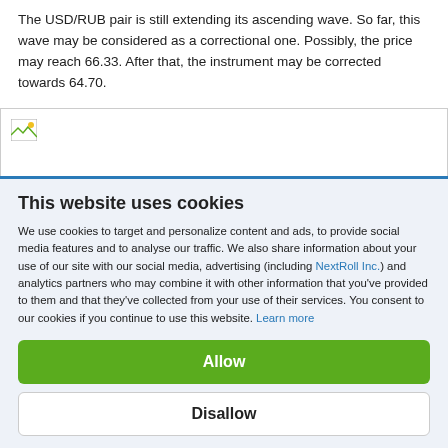The USD/RUB pair is still extending its ascending wave. So far, this wave may be considered as a correctional one. Possibly, the price may reach 66.33. After that, the instrument may be corrected towards 64.70.
[Figure (screenshot): Broken image placeholder with small image icon in top-left corner]
This website uses cookies
We use cookies to target and personalize content and ads, to provide social media features and to analyse our traffic. We also share information about your use of our site with our social media, advertising (including NextRoll Inc.) and analytics partners who may combine it with other information that you've provided to them and that they've collected from your use of their services. You consent to our cookies if you continue to use this website. Learn more
Allow
Disallow